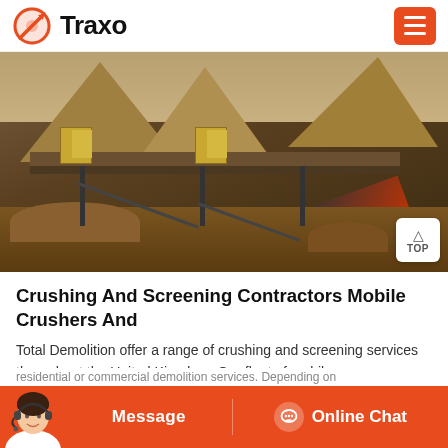Traxo
[Figure (photo): Industrial crushing and screening facility with large cone crushers, conveyor belts, and piles of crushed stone/aggregate material outdoors]
Crushing And Screening Contractors Mobile Crushers And
Total Demolition offer a range of crushing and screening services throughout the United Kingdom. Our fleet of mobile
residential or commercial demolition services. Depending on